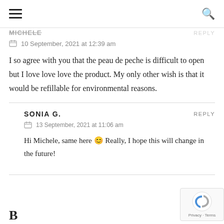☰  🔍
10 September, 2021 at 12:39 am
I so agree with you that the peau de peche is difficult to open but I love love love the product. My only other wish is that it would be refillable for environmental reasons.
SONIA G.
13 September, 2021 at 11:06 am
Hi Michele, same here 😊 Really, I hope this will change in the future!